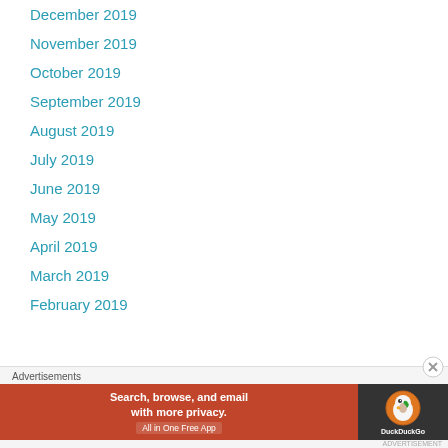December 2019
November 2019
October 2019
September 2019
August 2019
July 2019
June 2019
May 2019
April 2019
March 2019
February 2019
[Figure (screenshot): DuckDuckGo advertisement banner: 'Search, browse, and email with more privacy. All in One Free App' with DuckDuckGo logo on dark background]